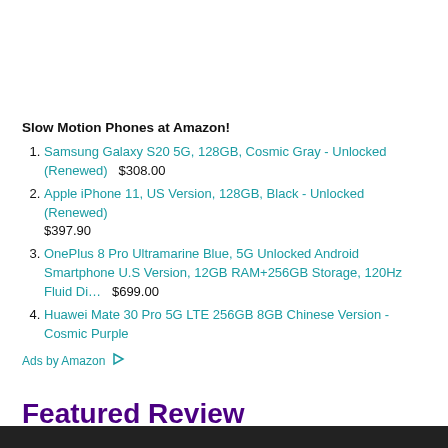Slow Motion Phones at Amazon!
Samsung Galaxy S20 5G, 128GB, Cosmic Gray - Unlocked (Renewed)   $308.00
Apple iPhone 11, US Version, 128GB, Black - Unlocked (Renewed)   $397.90
OnePlus 8 Pro Ultramarine Blue, 5G Unlocked Android Smartphone U.S Version, 12GB RAM+256GB Storage, 120Hz Fluid Di…   $699.00
Huawei Mate 30 Pro 5G LTE 256GB 8GB Chinese Version - Cosmic Purple
Ads by Amazon ▷
Featured Review